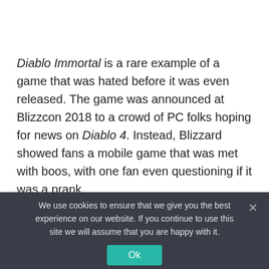Diablo Immortal is a rare example of a game that was hated before it was even released. The game was announced at Blizzcon 2018 to a crowd of PC folks hoping for news on Diablo 4. Instead, Blizzard showed fans a mobile game that was met with boos, with one fan even questioning if it was a prank.
We use cookies to ensure that we give you the best experience on our website. If you continue to use this site we will assume that you are happy with it.